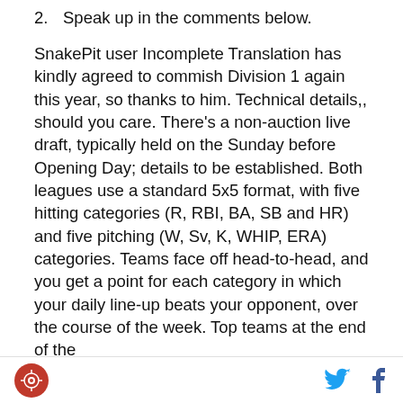2. Speak up in the comments below.
SnakePit user Incomplete Translation has kindly agreed to commish Division 1 again this year, so thanks to him. Technical details,, should you care. There's a non-auction live draft, typically held on the Sunday before Opening Day; details to be established. Both leagues use a standard 5x5 format, with five hitting categories (R, RBI, BA, SB and HR) and five pitching (W, Sv, K, WHIP, ERA) categories. Teams face off head-to-head, and you get a point for each category in which your daily line-up beats your opponent, over the course of the week. Top teams at the end of the
logo, twitter, facebook icons